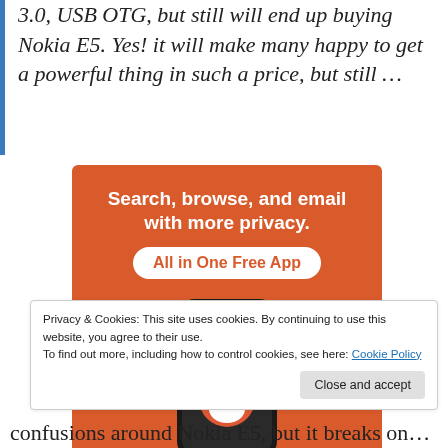3.0, USB OTG, but still will end up buying Nokia E5. Yes! it will make many happy to get a powerful thing in such a price, but still …
[Figure (advertisement): DuckDuckGo advertisement banner. Orange background. Text: 'Search, browse, and email with more privacy. All in One Free App'. Shows a smartphone with DuckDuckGo logo.]
Privacy & Cookies: This site uses cookies. By continuing to use this website, you agree to their use.
To find out more, including how to control cookies, see here: Cookie Policy
confusions around Nokia E5, but it breaks on…